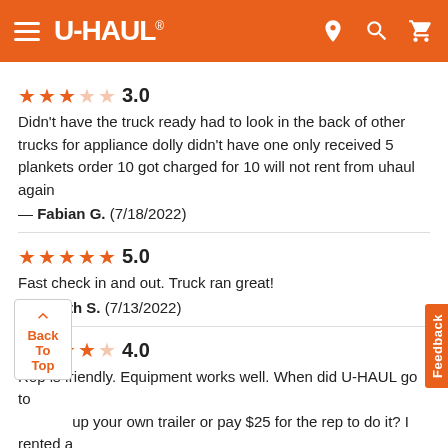U-HAUL navigation header
3.0 — Didn't have the truck ready had to look in the back of other trucks for appliance dolly didn't have one only received 5 plankets order 10 got charged for 10 will not rent from uhaul again — Fabian G. (7/18/2022)
5.0 — Fast check in and out. Truck ran great! — Judith S. (7/13/2022)
4.0 — Rep is friendly. Equipment works well. When did U-HAUL go to ...up your own trailer or pay $25 for the rep to do it? I rented a ...s ago and that wasn't the case. I was told that by the rep. H... ...did not help me and checked my hookup before I left the last 2 times. Rental place is not recommended who can't tolerate cigarette smoke